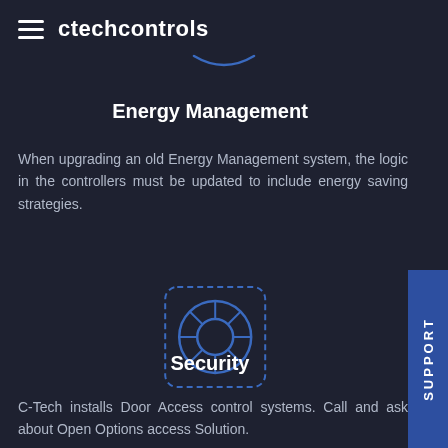ctechcontrols
[Figure (illustration): Blue arc/underline beneath ctechcontrols brand name]
Energy Management
When upgrading an old Energy Management system, the logic in the controllers must be updated to include energy saving strategies.
[Figure (illustration): Blue circular fan/life preserver icon with dashed square border]
Security
C-Tech installs Door Access control systems. Call and ask about Open Options access Solution.